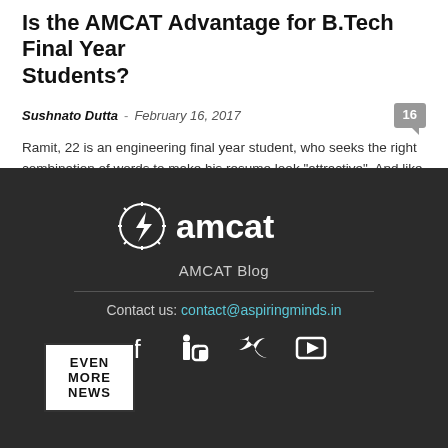Is the AMCAT Advantage for B.Tech Final Year Students?
Sushnato Dutta - February 16, 2017
Ramit, 22 is an engineering final year student, who seeks the right combination of words to make his resume look "attractive". And like a...
[Figure (logo): AMCAT logo with lightning bolt icon and text 'amcat']
AMCAT Blog
Contact us: contact@aspiringminds.in
[Figure (infographic): Social media icons: Facebook, LinkedIn, Twitter, YouTube]
EVEN MORE NEWS